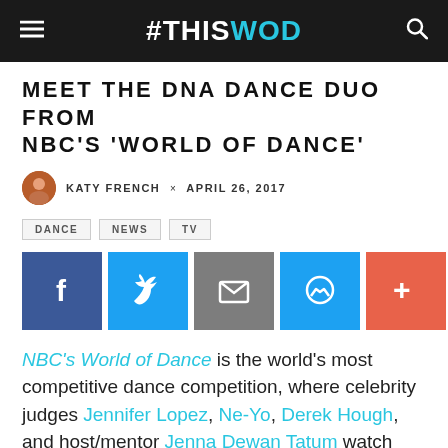#THISISWOD
MEET THE DNA DANCE DUO FROM NBC'S 'WORLD OF DANCE'
KATY FRENCH × APRIL 26, 2017
DANCE
NEWS
TV
[Figure (infographic): Social share buttons: Facebook, Twitter, Email, Messenger, More]
NBC's World of Dance is the world's most competitive dance competition, where celebrity judges Jennifer Lopez, Ne-Yo, Derek Hough, and host/mentor Jenna Dewan Tatum watch incredible dancers compete for a whopping $1 million prize. From hip hop to tap, break dancing to ballroom, it's a celebration of